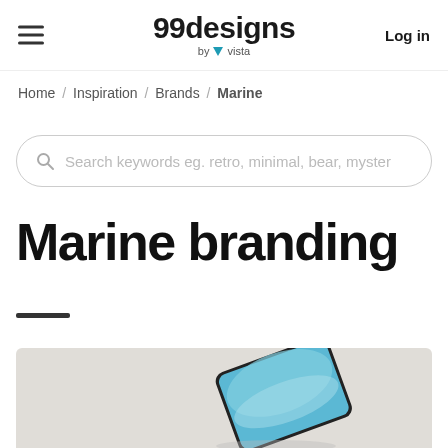99designs by vista | Log in
Home / Inspiration / Brands / Marine
Search keywords eg. retro, minimal, bear, myster
Marine branding
[Figure (illustration): Bottom portion of a marine branding illustration showing a device at an angle on a light gray background]